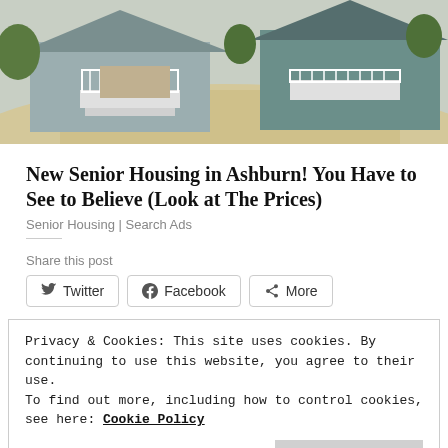[Figure (photo): Exterior photo of suburban houses with white railings, porches, driveways, and trees]
New Senior Housing in Ashburn! You Have to See to Believe (Look at The Prices)
Senior Housing | Search Ads
Share this post
Privacy & Cookies: This site uses cookies. By continuing to use this website, you agree to their use.
To find out more, including how to control cookies, see here: Cookie Policy
Posted on January 28, 2016 by Vignesh Ganesan